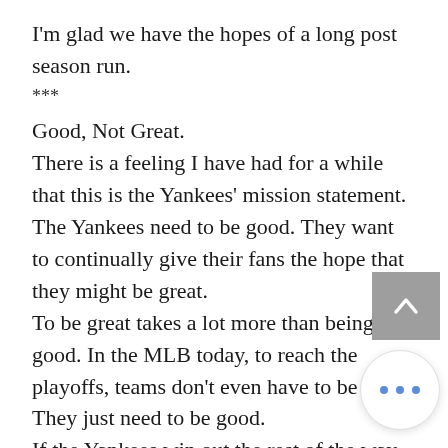I'm glad we have the hopes of a long post season run.
***
Good, Not Great.
There is a feeling I have had for a while that this is the Yankees' mission statement.
The Yankees need to be good. They want to continually give their fans the hope that they might be great.
To be great takes a lot more than being good. In the MLB today, to reach the playoffs, teams don't even have to be great. They just need to be good.
If the Yankees win out the rest of the way, they'll end with 95 wins. That is real good.
It's more likely that they'll end with or 91 wins. That's pretty good. It's